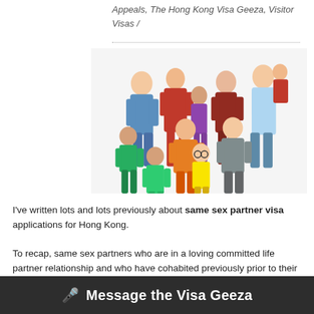Appeals, The Hong Kong Visa Geeza, Visitor Visas /
[Figure (photo): Group photo of a large mixed family — multiple adults and children of various ages posing together against a white background, similar to a modern family cast photo.]
I've written lots and lots previously about same sex partner visa applications for Hong Kong.
To recap, same sex partners who are in a loving committed life partner relationship and who have cohabited previously prior to their relocation here, can expect that the 'trailing spouse' will go on to procure a prolonged visitor visa in order for their joint lives to continue whilst their work or business plays itself out.
Message the Visa Geeza